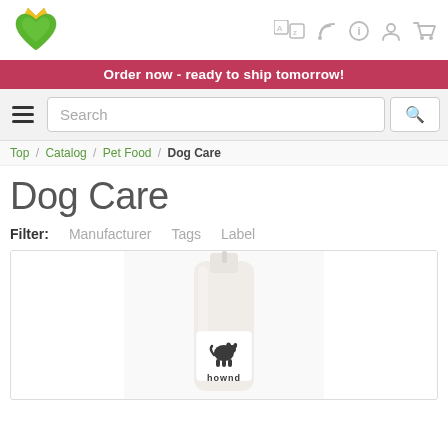[Figure (logo): Green heart with yellow crown logo]
[Figure (infographic): Navigation icons: AZ, RSS feed, info, user, shopping cart]
Order now - ready to ship tomorrow!
Search
Top / Catalog / Pet Food / Dog Care
Dog Care
Filter: Manufacturer Tags Label
[Figure (photo): Product photo: Hownd branded dog care bottle/spray, white background]